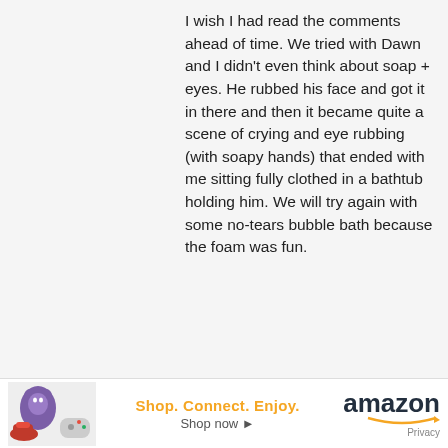I wish I had read the comments ahead of time. We tried with Dawn and I didn't even think about soap + eyes. He rubbed his face and got it in there and then it became quite a scene of crying and eye rubbing (with soapy hands) that ended with me sitting fully clothed in a bathtub holding him. We will try again with some no-tears bubble bath because the foam was fun.
[Figure (illustration): Orange circular Blogger avatar icon with white letter B]
Asia Citro
March 2, 2016 at 5:13 PM
Aw, poor guy!! I will make a stronger statement above warning about this. :)
[Figure (illustration): Amazon advertisement banner showing products, Shop. Connect. Enjoy. tagline, Shop now link, Amazon logo with smile]
Shop. Connect. Enjoy. Shop now ▸
amazon
Privacy